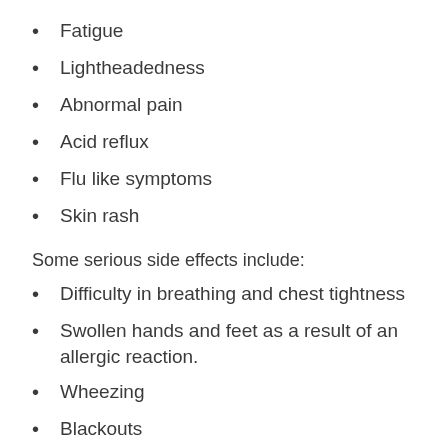Fatigue
Lightheadedness
Abnormal pain
Acid reflux
Flu like symptoms
Skin rash
Some serious side effects include:
Difficulty in breathing and chest tightness
Swollen hands and feet as a result of an allergic reaction.
Wheezing
Blackouts